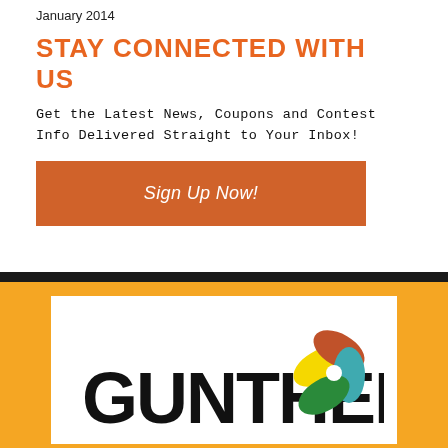January 2014
STAY CONNECTED WITH US
Get the Latest News, Coupons and Contest Info Delivered Straight to Your Inbox!
[Figure (other): Orange button with italic text 'Sign Up Now!']
[Figure (logo): Gunther logo on white background with colorful pinwheel graphic, inside an orange background section]